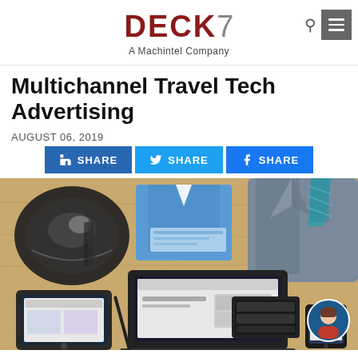DECK7 A Machintel Company
Multichannel Travel Tech Advertising
AUGUST 06, 2019
[Figure (infographic): Three share buttons: LinkedIn SHARE, Twitter SHARE, Facebook SHARE]
[Figure (photo): Overhead flat-lay of travel and tech items: laptop, tablet, smartphone, blue dress shirt, suit jacket, tie, black bag, wallet, pen, notebook with teal header, wooden table surface. Chat avatar in bottom right corner.]